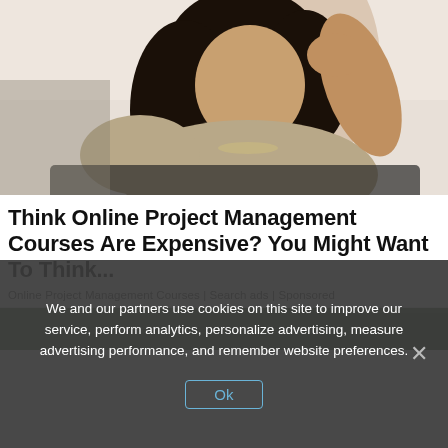[Figure (photo): A young woman with long dark hair, wearing a light beige top and gold bracelets, sitting and posing against a light background.]
Think Online Project Management Courses Are Expensive? You Might Want To Think...
Online Project Management Courses | Search ads | Sponsored
[Figure (photo): Partial photo visible at the bottom, showing green foliage and a dark figure outdoors.]
We and our partners use cookies on this site to improve our service, perform analytics, personalize advertising, measure advertising performance, and remember website preferences.